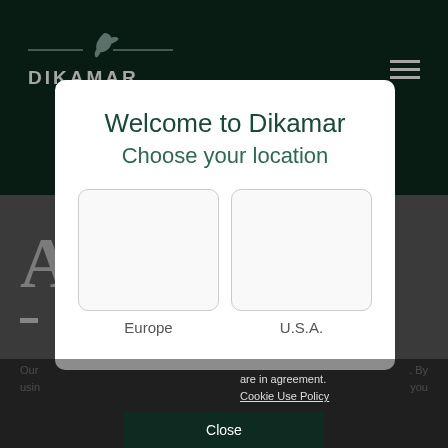[Figure (logo): Dikamar logo with bird icon and horizontal lines above company name on dark green header background]
Welcome to Dikamar
Choose your location
[Figure (illustration): Two empty white rounded-rectangle boxes side by side for selecting Europe or U.S.A. location]
Europe
U.S.A.
Our use cookies. By using you are in agreement. Cookie Use Policy
Close